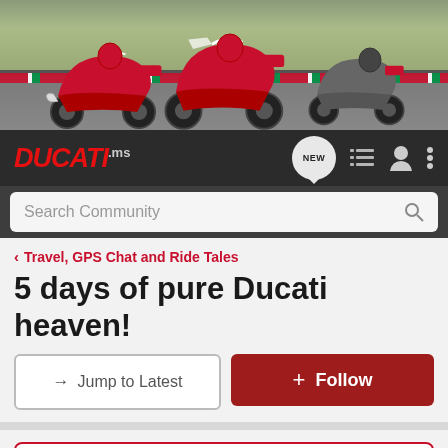[Figure (photo): Hero banner showing three Ducati motorcycles racing on a track with Italian-colored curbing. Left: red Panigale, center: red Hypermotard, right: grey Ducati Monster/streetfighter. Background shows green trees and grey sky.]
DUCATI.ms | NEW | [list icon] | [user icon] | [menu icon]
Search Community
Travel, GPS Chat and Ride Tales
5 days of pure Ducati heaven!
→ Jump to Latest
+ Follow
Hey Everyone! Enter your bike HERE to be a part of this months Bike of the Month Challenge!